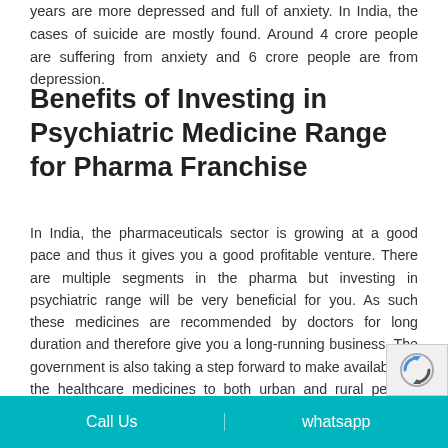years are more depressed and full of anxiety. In India, the cases of suicide are mostly found. Around 4 crore people are suffering from anxiety and 6 crore people are from depression.
Benefits of Investing in Psychiatric Medicine Range for Pharma Franchise
In India, the pharmaceuticals sector is growing at a good pace and thus it gives you a good profitable venture. There are multiple segments in the pharma but investing in psychiatric range will be very beneficial for you. As such these medicines are recommended by doctors for long duration and therefore give you a long-running business. The government is also taking a step forward to make available all the healthcare medicines to both urban and rural people. Therefore it will be not wrong to say that psychiatric segment will give you a better experience and a good return. Here are some reasons listed below of investing in this particular medicine rang
Call Us | whatsapp